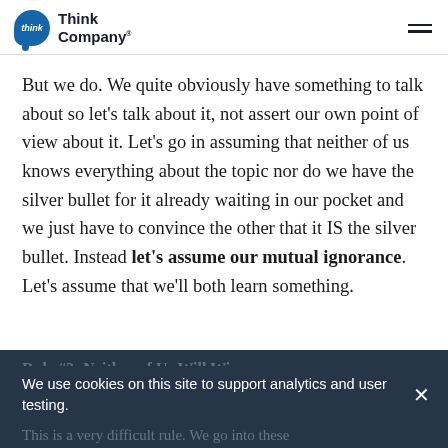Think Company
But we do. We quite obviously have something to talk about so let’s talk about it, not assert our own point of view about it. Let’s go in assuming that neither of us knows everything about the topic nor do we have the silver bullet for it already waiting in our pocket and we just have to convince the other that it IS the silver bullet. Instead let’s assume our mutual ignorance. Let’s assume that we’ll both learn something.
Rule #2: Neither of Us Will Win
We use cookies on this site to support analytics and user testing.
This is a very difficult rule. We go into these